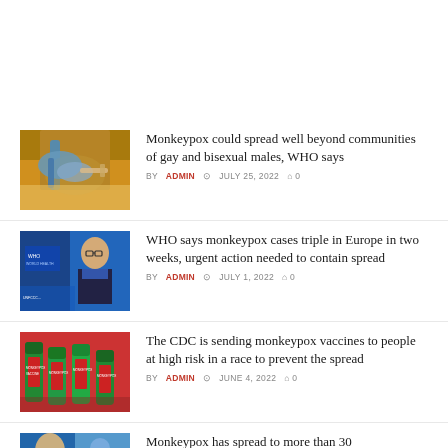[Figure (photo): Close-up of medical injection/vaccine being administered, gloved hand with syringe]
Monkeypox could spread well beyond communities of gay and bisexual males, WHO says
BY ADMIN  JULY 25, 2022  0
[Figure (photo): WHO official speaking at a press conference, man with glasses and WHO vest]
WHO says monkeypox cases triple in Europe in two weeks, urgent action needed to contain spread
BY ADMIN  JULY 1, 2022  0
[Figure (photo): Monkeypox vaccine vials with green caps and red labels]
The CDC is sending monkeypox vaccines to people at high risk in a race to prevent the spread
BY ADMIN  JUNE 4, 2022  0
[Figure (photo): Partial view of WHO/medical news thumbnail]
Monkeypox has spread to more than 30...